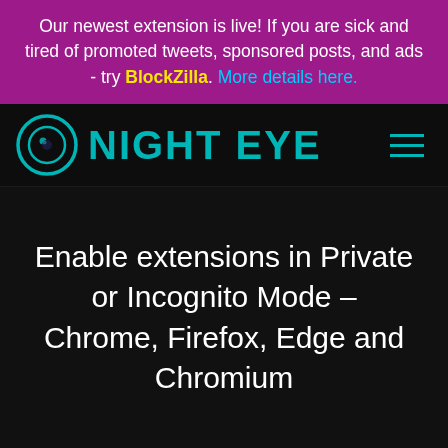Our newest extension is live! If you are sick and tired of promoted tweets, sponsored posts, and ads - try BlockZilla. More details here.
[Figure (logo): Night Eye logo with teal eye icon and text NIGHT EYE on dark background, with hamburger menu icon on the right]
Enable extensions in Private or Incognito Mode – Chrome, Firefox, Edge and Chromium